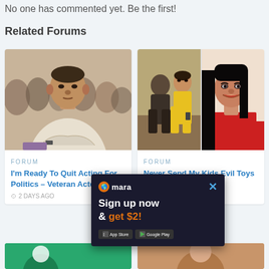No one has commented yet. Be the first!
Related Forums
[Figure (photo): Photo of a middle-aged man in a white traditional shirt seated at an event, looking downward]
FORUM
I'm Ready To Quit Acting For Politics – Veteran Actor, De...
2 DAYS AGO
[Figure (photo): Two photos side by side: left shows a woman in a yellow dress seated with a man, right is a close-up of a woman with long black hair and red top]
FORUM
Never Send My Kids Evil Toys Again – ...cious
2 DAYS AGO
[Figure (screenshot): Mara app advertisement popup: Sign up now & get $2! with App Store and Google Play buttons]
[Figure (photo): Partial view of two more forum card images at bottom of page]